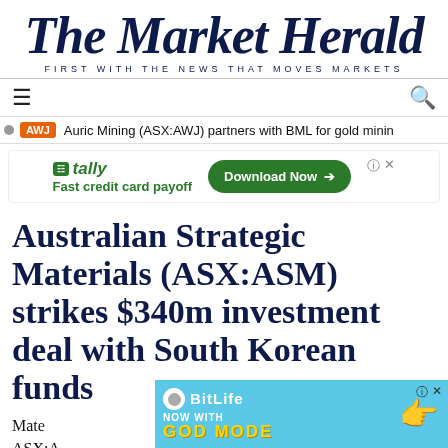The Market Herald
FIRST WITH THE NEWS THAT MOVES MARKETS
[Figure (other): Navigation bar with hamburger menu icon and search icon]
AWJ Auric Mining (ASX:AWJ) partners with BML for gold mining
[Figure (other): Tally advertisement banner: Fast credit card payoff. Download Now button.]
Australian Strategic Materials (ASX:ASM) strikes $340m investment deal with South Korean funds
Mate... ASX:A...
[Figure (other): BitLife advertisement: NOW WITH GOD MODE]